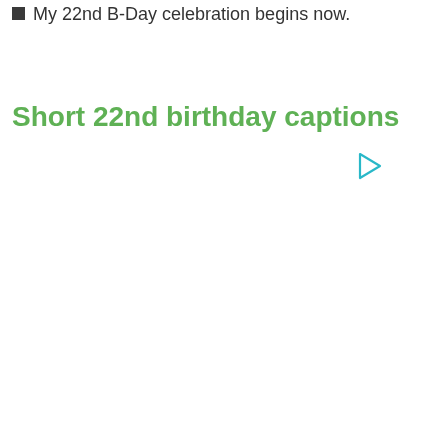My 22nd B-Day celebration begins now.
Short 22nd birthday captions